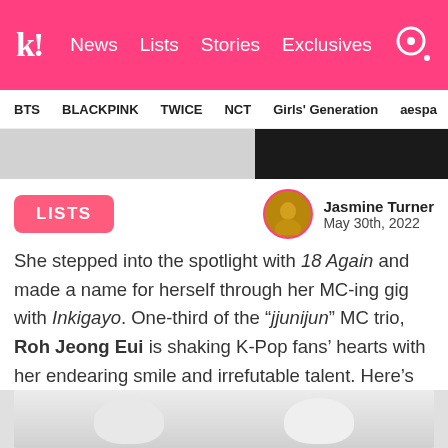k! News Lists Stories Exclusives
BTS  BLACKPINK  TWICE  NCT  Girls' Generation  aespa
[Figure (photo): Two partial photos: left shows a person in white clothing, right shows a person against dark background]
LISTS
Jasmine Turner
May 30th, 2022
She stepped into the spotlight with 18 Again and made a name for herself through her MC-ing gig with Inkigayo. One-third of the “jjunijun” MC trio, Roh Jeong Eui is shaking K-Pop fans’ hearts with her endearing smile and irrefutable talent. Here’s all you need to know about the lovable star.
[Figure (photo): Bottom partial photo showing white fluffy items and grey background]